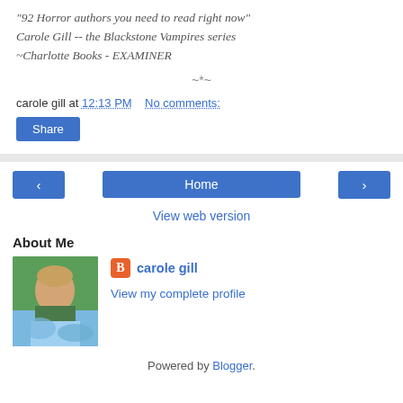"92 Horror authors you need to read right now" Carole Gill -- the Blackstone Vampires series ~Charlotte Books - EXAMINER
~*~
carole gill at 12:13 PM    No comments:
Share
‹  Home  ›  View web version
About Me
[Figure (photo): Profile photo of carole gill - woman with short blonde hair outdoors]
carole gill
View my complete profile
Powered by Blogger.